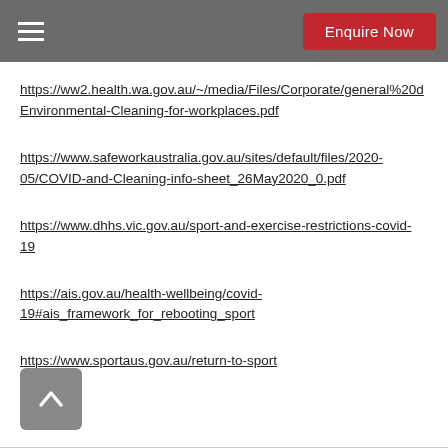Enquire Now
https://ww2.health.wa.gov.au/~/media/Files/Corporate/general%20d Environmental-Cleaning-for-workplaces.pdf
https://www.safeworkaustralia.gov.au/sites/default/files/2020-05/COVID-and-Cleaning-info-sheet_26May2020_0.pdf
https://www.dhhs.vic.gov.au/sport-and-exercise-restrictions-covid-19
https://ais.gov.au/health-wellbeing/covid-19#ais_framework_for_rebooting_sport
https://www.sportaus.gov.au/return-to-sport